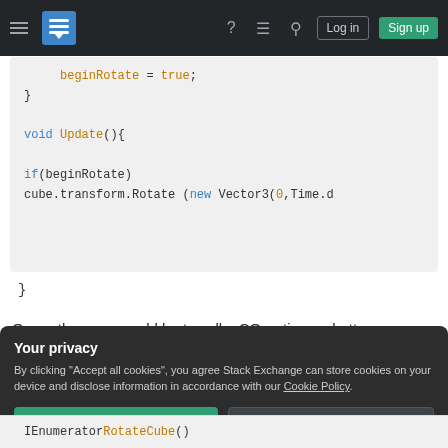Stack Exchange navigation bar with hamburger menu, logo, help, chat, search, Log in, Sign up buttons
beginRotate = true;
}

void Update(){

if(beginRotate)
cube.transform.Rotate (new Vector3(0,Time.d
}
Or another way would be to call a COroutine on button press.
Your privacy
By clicking "Accept all cookies", you agree Stack Exchange can store cookies on your device and disclose information in accordance with our Cookie Policy.
Accept all cookies  Customize settings
IEnumerator RotateCube()